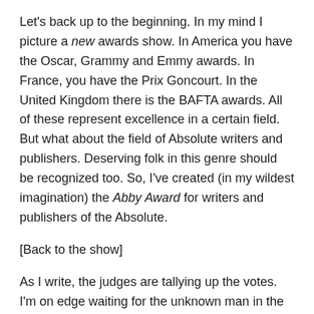Let's back up to the beginning. In my mind I picture a new awards show. In America you have the Oscar, Grammy and Emmy awards. In France, you have the Prix Goncourt. In the United Kingdom there is the BAFTA awards. All of these represent excellence in a certain field. But what about the field of Absolute writers and publishers. Deserving folk in this genre should be recognized too. So, I've created (in my wildest imagination) the Abby Award for writers and publishers of the Absolute.
[Back to the show]
As I write, the judges are tallying up the votes. I'm on edge waiting for the unknown man in the tuxedo to hand the envelope to the Master of Ceremonies. He walks onto the stage and hands the envelope to the elegantly gowned